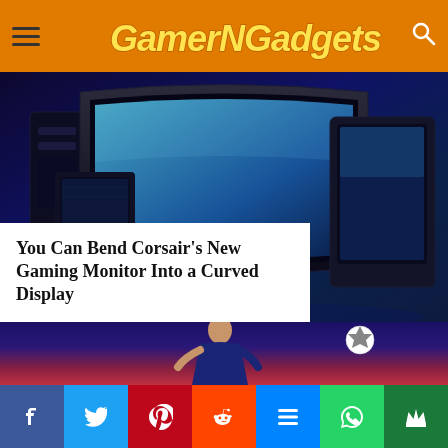GamerNGadgets
[Figure (photo): Dark blue-lit gaming monitors arranged in a curved/bent configuration against a dark background]
You Can Bend Corsair’s New Gaming Monitor Into a Curved Display
[Figure (photo): A soccer video game scene showing a player in a dark blue jersey with a football/soccer ball in the air, red stadium background]
Social share buttons: Facebook, Twitter, Pinterest, Reddit, Messenger, WhatsApp, Crown/save